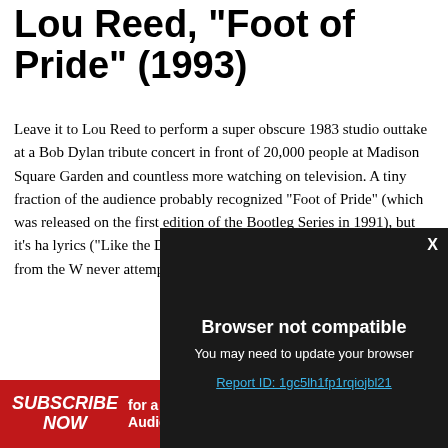Lou Reed, “Foot of Pride” (1993)
Leave it to Lou Reed to perform a super obscure 1983 studio outtake at a Bob Dylan tribute concert in front of 20,000 people at Madison Square Garden and countless more watching on television. A tiny fraction of the audience probably recognized “Foot of Pride” (which was released on the first edition of the Bootleg Series in 1991), but it’s ha… lyrics (“Like the D… woman who pass… custom-made for… classic from the W… never attempted t… definitive concert…
[Figure (screenshot): Browser not compatible modal overlay on dark background. Text reads: 'Browser not compatible', 'You may need to update your browser', 'Report ID: 1gc5lh1fp1rqiojbl21'. Close button X in top right.]
SUBSCRIBE NOW for a chance to WIN 1 of 2 Audio Technica turntables VALUED AT $329